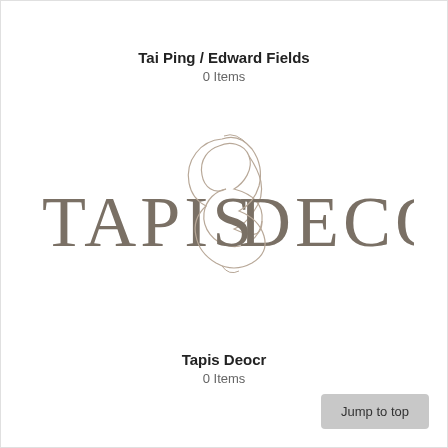Tai Ping / Edward Fields
0 Items
[Figure (logo): Tapis & Decor logo — large serif text reading TAPIS DECOR with a stylized ampersand in taupe/brown color]
Tapis Deocr
0 Items
Jump to top